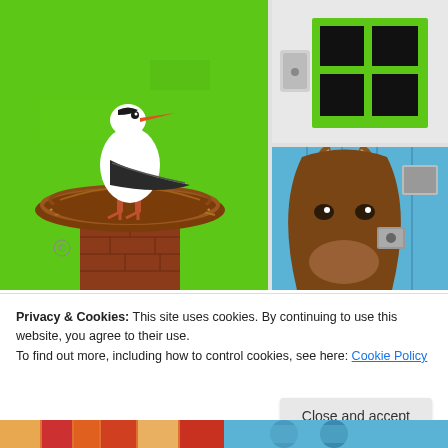[Figure (illustration): Painting of a white stork standing in a nest on top of a brick chimney, against a bright green background. Colorful folk-art style mural.]
[Figure (photo): Green-framed window with four black panes on a white wall, with a white electrical switch box to the left.]
[Figure (illustration): Painted barn door on blue wooden wall featuring a donkey/mule face, with ears prominent. A small metal fixture is on the right side.]
Privacy & Cookies: This site uses cookies. By continuing to use this website, you agree to their use.
To find out more, including how to control cookies, see here: Cookie Policy
[Figure (photo): Bottom strip showing partial colorful scene on left (orange/warm tones) and blue/cyan scene on right.]